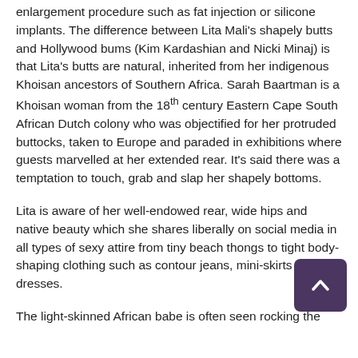enlargement procedure such as fat injection or silicone implants. The difference between Lita Mali's shapely butts and Hollywood bums (Kim Kardashian and Nicki Minaj) is that Lita's butts are natural, inherited from her indigenous Khoisan ancestors of Southern Africa. Sarah Baartman is a Khoisan woman from the 18th century Eastern Cape South African Dutch colony who was objectified for her protruded buttocks, taken to Europe and paraded in exhibitions where guests marvelled at her extended rear. It's said there was a temptation to touch, grab and slap her shapely bottoms.
Lita is aware of her well-endowed rear, wide hips and native beauty which she shares liberally on social media in all types of sexy attire from tiny beach thongs to tight body-shaping clothing such as contour jeans, mini-skirts and dresses.
The light-skinned African babe is often seen rocking the